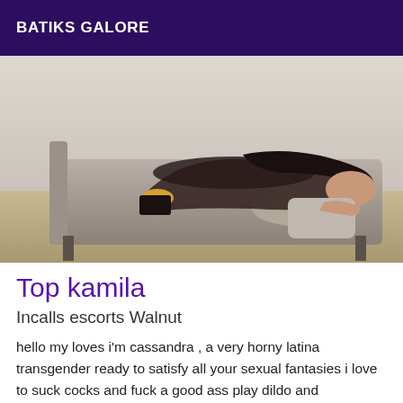BATIKS GALORE
[Figure (photo): Woman posing on a grey sofa wearing black clothing and gold heels]
Top kamila
Incalls escorts Walnut
hello my loves i'm cassandra , a very horny latina transgender ready to satisfy all your sexual fantasies i love to suck cocks and fuck a good ass play dildo and